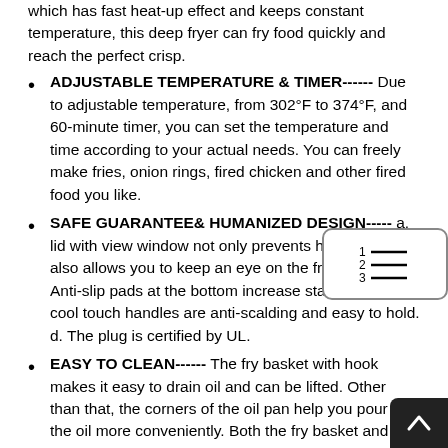which has fast heat-up effect and keeps constant temperature, this deep fryer can fry food quickly and reach the perfect crisp.
ADJUSTABLE TEMPERATURE & TIMER------ Due to adjustable temperature, from 302°F to 374°F, and 60-minute timer, you can set the temperature and time according to your actual needs. You can freely make fries, onion rings, fired chicken and other fired food you like.
SAFE GUARANTEE& HUMANIZED DESIGN----- a. lid with view window not only prevents hot oil sp... also allows you to keep an eye on the frying p... b. Anti-slip pads at the bottom increase stability. c. 4 cool touch handles are anti-scalding and easy to hold. d. The plug is certified by UL.
EASY TO CLEAN------ The fry basket with hook makes it easy to drain oil and can be lifted. Other than that, the corners of the oil pan help you pour out the oil more conveniently. Both the fry basket and oil pan are easy to clean. And the removable heating element also makes it easy to clean.